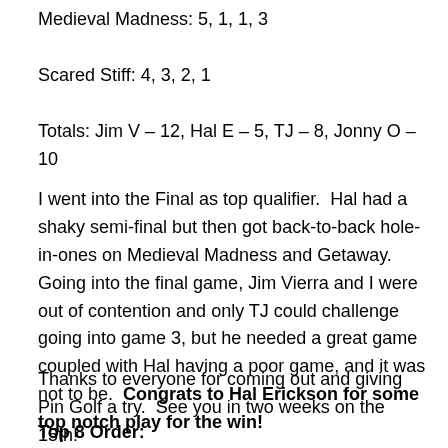Medieval Madness: 5, 1, 1, 3
Scared Stiff: 4, 3, 2, 1
Totals: Jim V – 12, Hal E – 5, TJ – 8, Jonny O – 10
I went into the Final as top qualifier.  Hal had a shaky semi-final but then got back-to-back hole-in-ones on Medieval Madness and Getaway.  Going into the final game, Jim Vierra and I were out of contention and only TJ could challenge going into game 3, but he needed a great game coupled with Hal having a poor game, and it was not to be.  Congrats to Hal Erickson for some top notch play for the win!
Thanks to everyone for coming out and giving Pin Golf a try.  See you in two weeks on the 15th!
Top 8 Order: